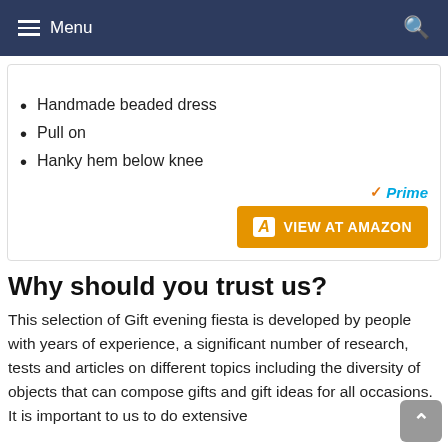Menu
Handmade beaded dress
Pull on
Hanky hem below knee
[Figure (other): Amazon Prime badge and VIEW AT AMAZON button]
Why should you trust us?
This selection of Gift evening fiesta is developed by people with years of experience, a significant number of research, tests and articles on different topics including the diversity of objects that can compose gifts and gift ideas for all occasions. It is important to us to do extensive